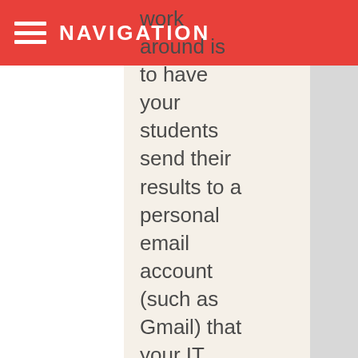NAVIGATION
work around is to have your students send their results to a personal email account (such as Gmail) that your IT department does not control. Then there